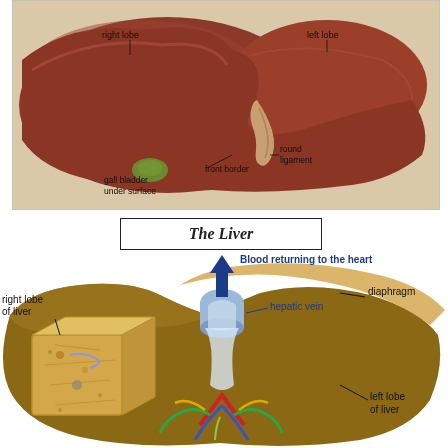[Figure (illustration): Anatomical illustration of the liver showing the right lobe, left lobe, gall bladder under surface, front border, and round ligament. The liver is shown from a front-inferior view with a brownish-red color on a beige background.]
The Liver
[Figure (illustration): Cross-sectional anatomical diagram of the liver showing: right lobe of liver (with a cutaway cube showing internal microstructure), hepatic vein, blood returning to the heart (blue arrow pointing up), diaphragm, left lobe of liver, and colorful vascular structures (portal vein, hepatic artery, bile duct) at the base of the liver.]